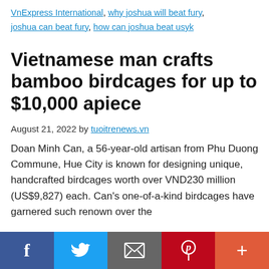VnExpress International, why joshua will beat fury, joshua can beat fury, how can joshua beat usyk
Vietnamese man crafts bamboo birdcages for up to $10,000 apiece
August 21, 2022 by tuoitrenews.vn
Doan Minh Can, a 56-year-old artisan from Phu Duong Commune, Hue City is known for designing unique, handcrafted birdcages worth over VND230 million (US$9,827) each. Can's one-of-a-kind birdcages have garnered such renown over the